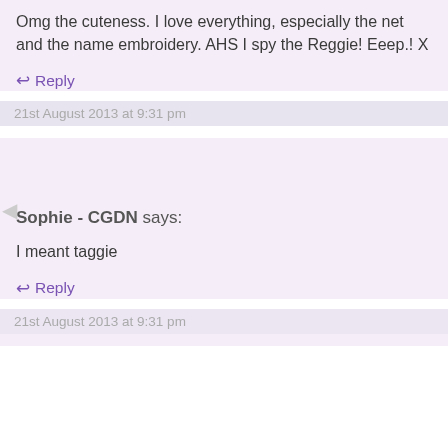Omg the cuteness. I love everything, especially the net and the name embroidery. AHS I spy the Reggie! Eeep.! X
↩ Reply
21st August 2013 at 9:31 pm
Sophie - CGDN says:
I meant taggie
↩ Reply
21st August 2013 at 9:31 pm